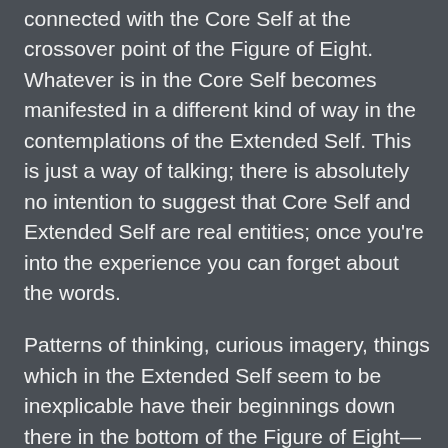connected with the Core Self at the crossover point of the Figure of Eight. Whatever is in the Core Self becomes manifested in a different kind of way in the contemplations of the Extended Self. This is just a way of talking; there is absolutely no intention to suggest that Core Self and Extended Self are real entities; once you're into the experience you can forget about the words.
Patterns of thinking, curious imagery, things which in the Extended Self seem to be inexplicable have their beginnings down there in the bottom of the Figure of Eight—also just words…
A simple example which can be followed round the Figure of Eight: I have long had a strange desire for a perfectly smooth and well-manicured lawn; there seems to be something really spooky about my desire; somewhere down there there's a story I tell myself about how it's a necessity of life to have a clear area in the garden, to